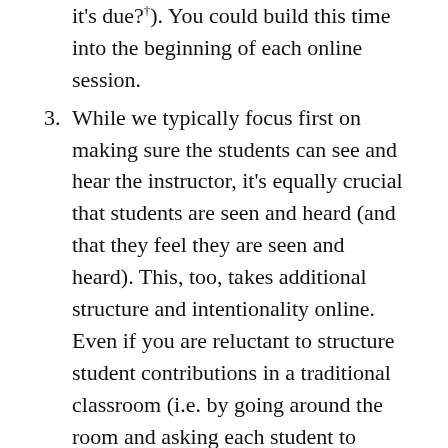it's due?"). You could build this time into the beginning of each online session.
While we typically focus first on making sure the students can see and hear the instructor, it's equally crucial that students are seen and heard (and that they feel they are seen and heard). This, too, takes additional structure and intentionality online. Even if you are reluctant to structure student contributions in a traditional classroom (i.e. by going around the room and asking each student to make a comment, or by having structured student presentations), you might think of doing so in the online environment to help ensure that each student feels connected with the...